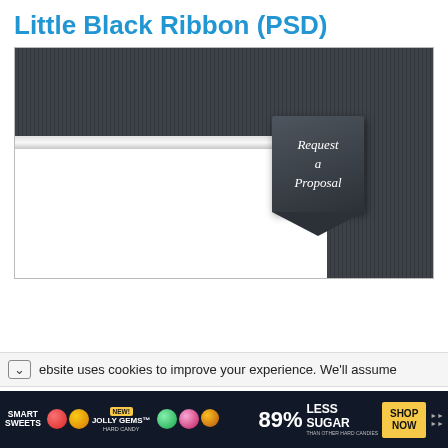Little Black Ribbon (PSD)
[Figure (illustration): A dark gray textured UI preview showing a horizontal layout with a dark header band, a white horizontal bar across the left portion, a vertical dark right column, a white content area in the bottom left, and a dark ribbon badge in the center reading 'Request a Proposal' with a notched bottom point.]
ebsite uses cookies to improve your experience. We'll assume
[Figure (illustration): Smart Sweets advertisement banner featuring candy images, 'JOLLY GEMS HARD CANDY' text with 'NEW!' badge, and '89% LESS SUGAR THAN OTHER HARD CANDIES' text with a 'SHOP NOW' yellow button.]